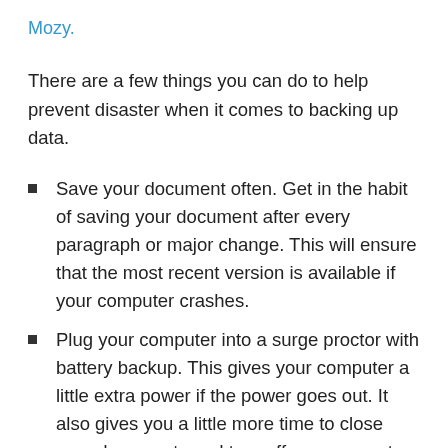Mozy.
There are a few things you can do to help prevent disaster when it comes to backing up data.
Save your document often. Get in the habit of saving your document after every paragraph or major change. This will ensure that the most recent version is available if your computer crashes.
Plug your computer into a surge proctor with battery backup. This gives your computer a little extra power if the power goes out. It also gives you a little more time to close your documents and turn off your computer properly.
Start using cloud based services where possible. Cloud applications usually save projects automatically, and you won't have to worry so much about having